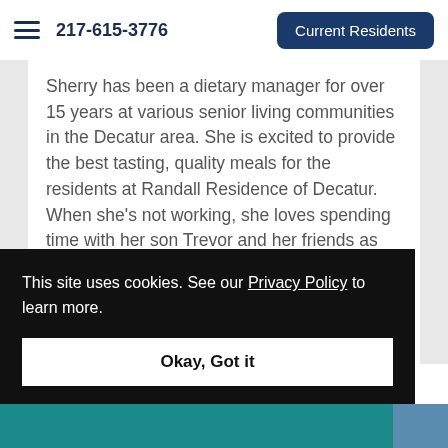217-615-3776  Current Residents
Sherry has been a dietary manager for over 15 years at various senior living communities in the Decatur area. She is excited to provide the best tasting, quality meals for the residents at Randall Residence of Decatur. When she's not working, she loves spending time with her son Trevor and her friends as well as her 3 rescue dogs.
This site uses cookies. See our Privacy Policy to learn more.
Okay, Got it